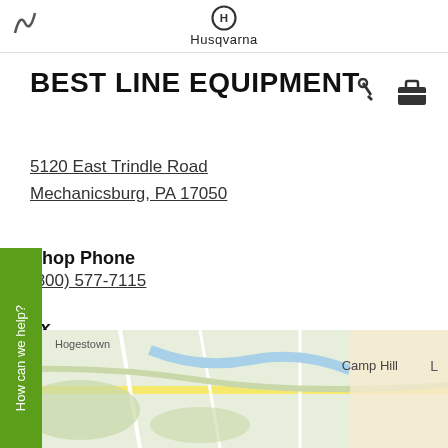Husqvarna
BEST LINE EQUIPMENT
5120 East Trindle Road
Mechanicsburg, PA 17050
Shop Phone
(800) 577-7115
Fax
(717) 697-3408
Product availability may vary. Please contact the store directly with questions about current inventory or how to place an order.
[Figure (map): Street map showing area around Mechanicsburg PA with labels for Hogestown and Camp Hill]